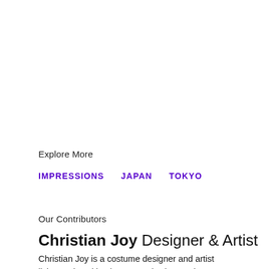Explore More
IMPRESSIONS
JAPAN
TOKYO
Our Contributors
Christian Joy  Designer & Artist
Christian Joy is a costume designer and artist living and working in New York City. Joy has created performance looks for artists such as Karen O, Brittany Howard, and Childish Gambino, and her designs have appeared onstage at the Oscars and the Grammy Awards. Joy's work has been